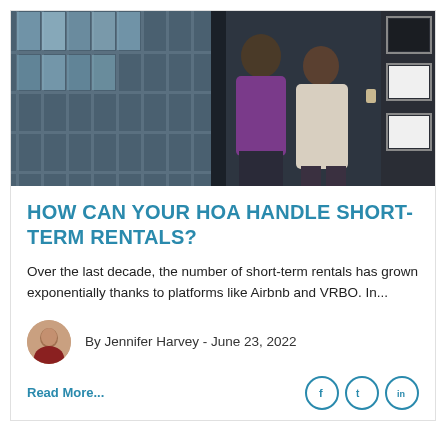[Figure (photo): Two people (a man and a woman) standing near large industrial windows in a modern apartment or loft space, looking at something. Dark walls with framed white squares/canvases visible on the right side.]
HOW CAN YOUR HOA HANDLE SHORT-TERM RENTALS?
Over the last decade, the number of short-term rentals has grown exponentially thanks to platforms like Airbnb and VRBO. In...
By Jennifer Harvey - June 23, 2022
Read More...